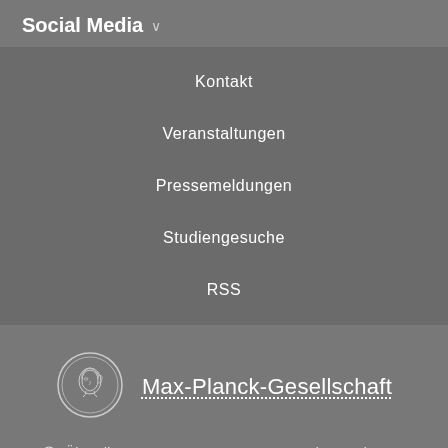Social Media ∨
Kontakt
Veranstaltungen
Pressemeldungen
Studiengesuche
RSS
[Figure (logo): Max-Planck-Gesellschaft coin logo with profile portrait]
Max-Planck-Gesellschaft
⊘ Über die MPG   Impressum   Kontakt   Sitemap
Self-Service   Datenschutzhinweis